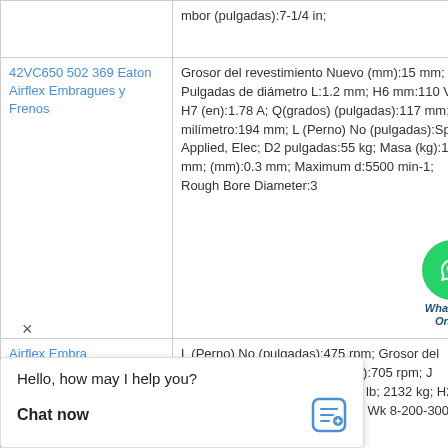| Product | Specifications |
| --- | --- |
|  | mbor (pulgadas):7-1/4 in; |
| 42VC650 502 369 Eaton Airflex Embragues y Frenos | Grosor del revestimiento Nuevo (mm):15 mm; Pulgadas de diámetro L:1.2 mm; H6 mm:110 V; H7 (en):1.78 A; Q(grados) (pulgadas):117 mm; G1 milímetro:194 mm; L (Perno) No (pulgadas):Spring Applied, Elec; D2 pulgadas:55 kg; Masa (kg):117 mm; (mm):0.3 mm; Maximum d:5500 min-1; Rough Bore Diameter:3 |
| Airflex Embra | L (Perno) No (pulgadas):475 rpm; Grosor del revestimiento de agastado (mm):705 rpm; J (kg.35000 lbin; 1508; D24 1700 lb; 2132 kg; H2 milímetro:1942 lb; 881 kg; Peso Wk 8-200-300-0; D2 335 lbft²; 141 k; P |
[Figure (illustration): WhatsApp Online button - green circle with phone icon and italic label 'WhatsApp Online']
× Hello, how may I help you?
Chat now